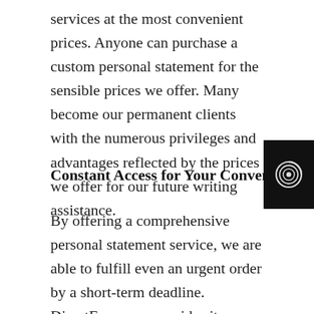services at the most convenient prices. Anyone can purchase a custom personal statement for the sensible prices we offer. Many become our permanent clients with the numerous privileges and advantages reflected by the prices we offer for our future writing assistance.
Constant Access for Your Convenience
[Figure (logo): Black box with a circular swirl/spiral icon in white]
By offering a comprehensive personal statement service, we are able to fulfill even an urgent order by a short-term deadline. DirectEssays.us provides its customers with 24/7 online access. You can contact our administrators anytime and discuss your personal statement with them. This allows